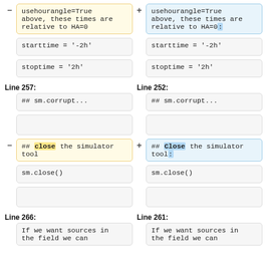usehourangle=True
above, these times are
relative to HA=0 (removed/left)
usehourangle=True
above, these times are
relative to HA=0: (added/right)
starttime = '-2h' (left)
starttime = '-2h' (right)
stoptime = '2h' (left)
stoptime = '2h' (right)
Line 257:
Line 252:
## sm.corrupt...
## sm.corrupt...
(empty)
(empty)
## close the simulator tool (removed)
## Close the simulator tool: (added)
sm.close() (left)
sm.close() (right)
(empty)
(empty)
Line 266:
Line 261:
If we want sources in
the field we can (left)
If we want sources in
the field we can (right)